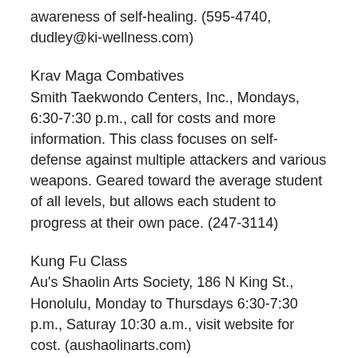awareness of self-healing. (595-4740, dudley@ki-wellness.com)
Krav Maga Combatives
Smith Taekwondo Centers, Inc., Mondays, 6:30-7:30 p.m., call for costs and more information. This class focuses on self-defense against multiple attackers and various weapons. Geared toward the average student of all levels, but allows each student to progress at their own pace. (247-3114)
Kung Fu Class
Au's Shaolin Arts Society, 186 N King St., Honolulu, Monday to Thursdays 6:30-7:30 p.m., Saturay 10:30 a.m., visit website for cost. (aushaolinarts.com)
Lamaze Prepared Childbirth
Castle Medical Center, once a month, visit website for schedule. 2-5 p.m., $75, $65 thi Ling i net. See the. Thi f